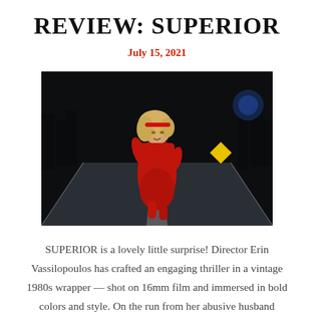REVIEW: SUPERIOR
July 15, 2021
[Figure (photo): Woman in a red outfit running on a dark road at night, with trees and a yellow road sign visible in the background. Film still from the movie SUPERIOR.]
SUPERIOR is a lovely little surprise! Director Erin Vassilopoulos has crafted an engaging thriller in a vintage 1980s wrapper — shot on 16mm film and immersed in bold colors and style. On the run from her abusive husband